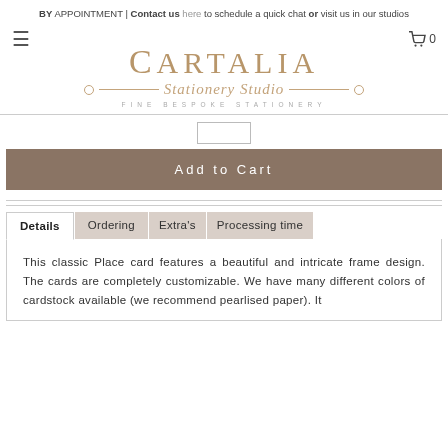BY APPOINTMENT | Contact us here to schedule a quick chat or visit us in our studios
[Figure (logo): Cartalia Stationery Studio logo with cursive script, decorative lines, circles, and tagline FINE BESPOKE STATIONERY]
Add to Cart
Details | Ordering | Extra's | Processing time
This classic Place card features a beautiful and intricate frame design. The cards are completely customizable. We have many different colors of cardstock available (we recommend pearlised paper). It